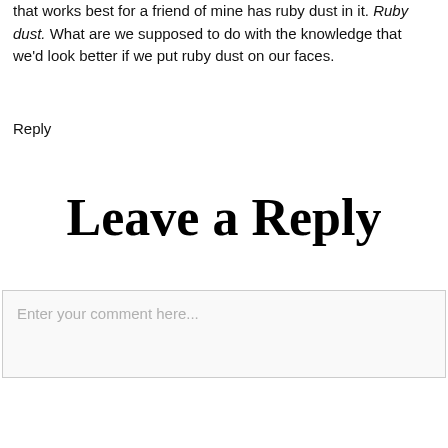that works best for a friend of mine has ruby dust in it. Ruby dust. What are we supposed to do with the knowledge that we'd look better if we put ruby dust on our faces.
Reply
Leave a Reply
Enter your comment here...